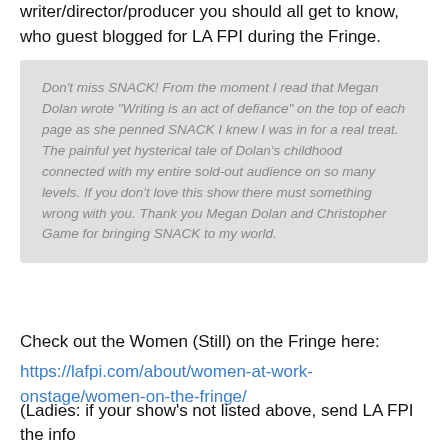writer/director/producer you should all get to know, who guest blogged for LA FPI during the Fringe.
Don't miss SNACK! From the moment I read that Megan Dolan wrote "Writing is an act of defiance" on the top of each page as she penned SNACK I knew I was in for a real treat. The painful yet hysterical tale of Dolan's childhood connected with my entire sold-out audience on so many levels. If you don't love this show there must something wrong with you. Thank you Megan Dolan and Christopher Game for bringing SNACK to my world.
Check out the Women (Still) on the Fringe here: https://lafpi.com/about/women-at-work-onstage/women-on-the-fringe/
(Ladies: if your show's not listed above, send LA FPI the info